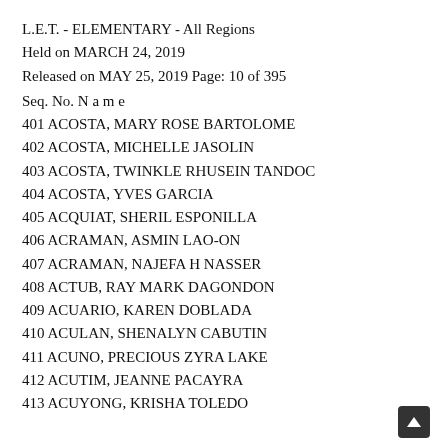L.E.T. - ELEMENTARY - All Regions
Held on MARCH 24, 2019
Released on MAY 25, 2019 Page: 10 of 395
Seq. No. N a m e
401 ACOSTA, MARY ROSE BARTOLOME
402 ACOSTA, MICHELLE JASOLIN
403 ACOSTA, TWINKLE RHUSEIN TANDOC
404 ACOSTA, YVES GARCIA
405 ACQUIAT, SHERIL ESPONILLA
406 ACRAMAN, ASMIN LAO-ON
407 ACRAMAN, NAJEFA H NASSER
408 ACTUB, RAY MARK DAGONDON
409 ACUARIO, KAREN DOBLADA
410 ACULAN, SHENALYN CABUTIN
411 ACUNO, PRECIOUS ZYRA LAKE
412 ACUTIM, JEANNE PACAYRA
413 ACUYONG, KRISHA TOLEDO